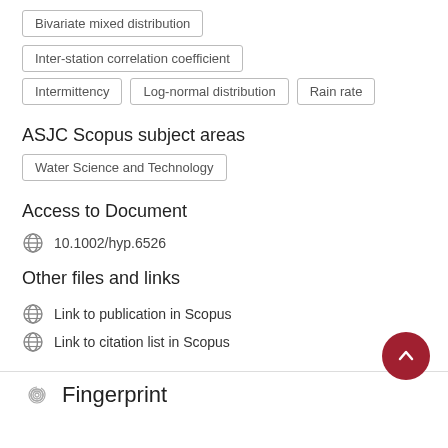Bivariate mixed distribution
Inter-station correlation coefficient
Intermittency
Log-normal distribution
Rain rate
ASJC Scopus subject areas
Water Science and Technology
Access to Document
10.1002/hyp.6526
Other files and links
Link to publication in Scopus
Link to citation list in Scopus
Fingerprint